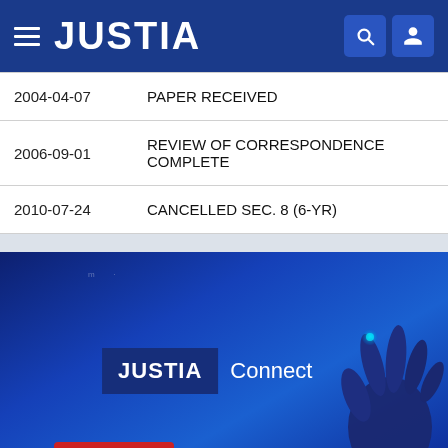JUSTIA
| Date | Event |
| --- | --- |
| 2004-04-07 | PAPER RECEIVED |
| 2006-09-01 | REVIEW OF CORRESPONDENCE COMPLETE |
| 2010-07-24 | CANCELLED SEC. 8 (6-YR) |
[Figure (illustration): Justia Connect promotional banner with dark blue gradient background, 'JUSTIA Connect' branding text, and a stylized hand touching a glowing element in the bottom right corner.]